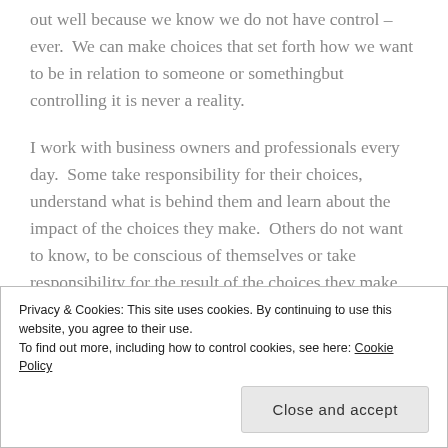out well because we know we do not have control – ever.  We can make choices that set forth how we want to be in relation to someone or somethingbut controlling it is never a reality.

I work with business owners and professionals every day.  Some take responsibility for their choices, understand what is behind them and learn about the impact of the choices they make.  Others do not want to know, to be conscious of themselves or take responsibility for the result of the choices they make everyday.  They just decide and move on.  How well
Privacy & Cookies: This site uses cookies. By continuing to use this website, you agree to their use.
To find out more, including how to control cookies, see here: Cookie Policy
Close and accept